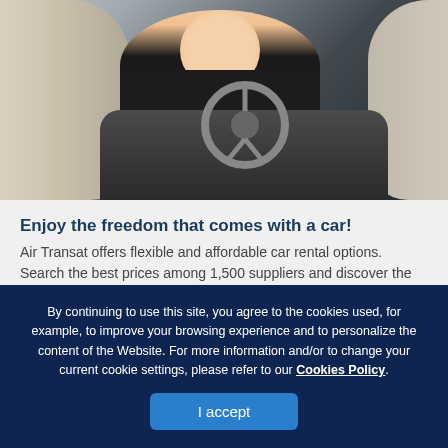[Figure (photo): A smiling man sitting in the driver's seat of a car, gripping the steering wheel. The interior shows cream/beige leather seats and a dark dashboard.]
Enjoy the freedom that comes with a car!
Air Transat offers flexible and affordable car rental options. Search the best prices among 1,500 suppliers and discover the country your way!
By continuing to use this site, you agree to the cookies used, for example, to improve your browsing experience and to personalize the content of the Website. For more information and/or to change your current cookie settings, please refer to our Cookies Policy.
I accept